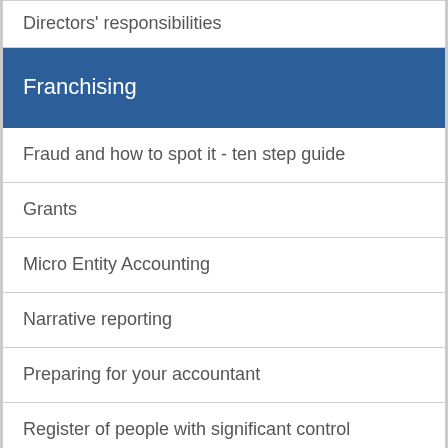Directors' responsibilities
Franchising
Fraud and how to spot it - ten step guide
Grants
Micro Entity Accounting
Narrative reporting
Preparing for your accountant
Register of people with significant control
Running a limited company
Securing business success
Small Company Accounting